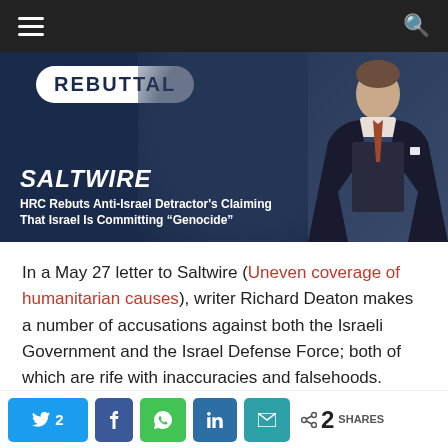Navigation bar with hamburger menu and search icon
[Figure (screenshot): Article hero image with dark blue background, REBUTTAL badge, SALTWIRE brand name in italic bold, caption 'HRC Rebuts Anti-Israel Detractor's Claiming That Israel Is Committing "Genocide"', and a person in a suit on the right side]
In a May 27 letter to Saltwire (Uneven coverage of humanitarian causes), writer Richard Deaton makes a number of accusations against both the Israeli Government and the Israel Defense Force; both of which are rife with inaccuracies and falsehoods.
First, Mr. Deaton accuses Israel of expansionist
Share buttons: Twitter 2, Facebook, WhatsApp, LinkedIn, Email | 2 SHARES